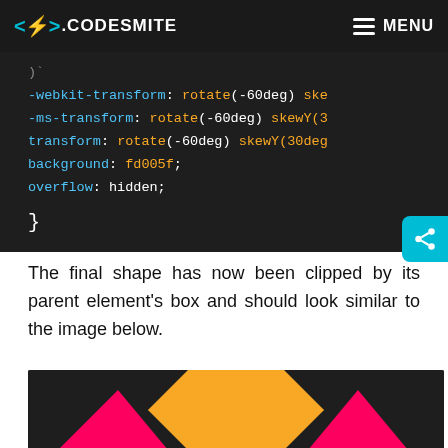</>. CODESMITE  ≡ MENU
[Figure (screenshot): CSS code block on dark background showing -webkit-transform: rotate(-60deg) skewY(...), -ms-transform: rotate(-60deg) skewY(3..., transform: rotate(-60deg) skewY(30deg..., background: fd005f;, overflow: hidden; followed by closing brace]
The final shape has now been clipped by its parent element's box and should look similar to the image below.
[Figure (illustration): Dark background with a yellow pentagon/house shape in the center and pink/magenta triangular shapes on the left and right sides, forming a geometric CSS shape demonstration]